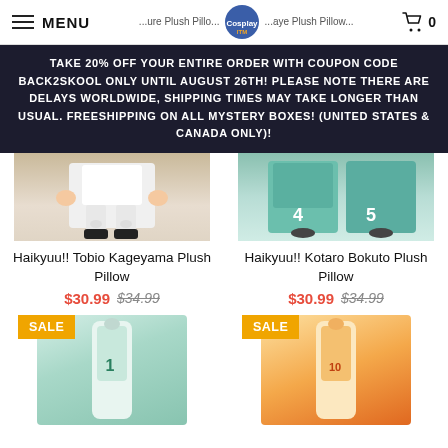MENU | [breadcrumb] | [logo] | Cart 0
TAKE 20% OFF YOUR ENTIRE ORDER WITH COUPON CODE BACK2SKOOL ONLY UNTIL AUGUST 26TH! PLEASE NOTE THERE ARE DELAYS WORLDWIDE, SHIPPING TIMES MAY TAKE LONGER THAN USUAL. FREESHIPPING ON ALL MYSTERY BOXES! (UNITED STATES & CANADA ONLY)!
[Figure (photo): Haikyuu!! Tobio Kageyama plush pillow product image - anime character from below waist down in white uniform]
Haikyuu!! Tobio Kageyama Plush Pillow
$30.99 $34.99
[Figure (photo): Haikyuu!! Kotaro Bokuto plush pillow product image - anime characters in teal volleyball uniforms]
Haikyuu!! Kotaro Bokuto Plush Pillow
$30.99 $34.99
[Figure (photo): SALE badge with anime character plush pillow in white/teal volleyball uniform]
[Figure (photo): SALE badge with anime character plush pillow in orange/black uniform with number 10]